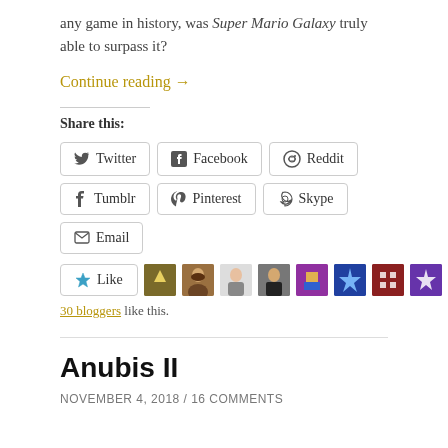any game in history, was Super Mario Galaxy truly able to surpass it?
Continue reading →
Share this:
Twitter  Facebook  Reddit  Tumblr  Pinterest  Skype  Email
[Figure (other): Like button and 9 blogger avatar icons]
30 bloggers like this.
Anubis II
NOVEMBER 4, 2018 / 16 COMMENTS